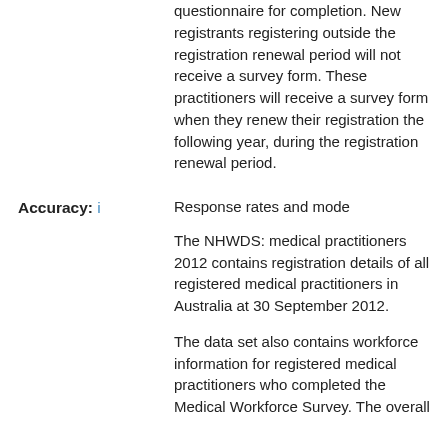questionnaire for completion. New registrants registering outside the registration renewal period will not receive a survey form. These practitioners will receive a survey form when they renew their registration the following year, during the registration renewal period.
Accuracy: i
Response rates and mode
The NHWDS: medical practitioners 2012 contains registration details of all registered medical practitioners in Australia at 30 September 2012.
The data set also contains workforce information for registered medical practitioners who completed the Medical Workforce Survey. The overall